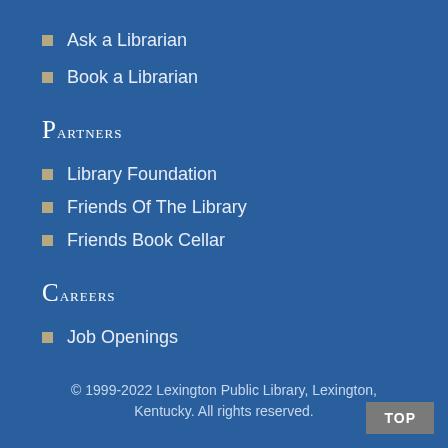Ask a Librarian
Book a Librarian
Partners
Library Foundation
Friends Of The Library
Friends Book Cellar
Careers
Job Openings
© 1999-2022 Lexington Public Library, Lexington, Kentucky. All rights reserved.